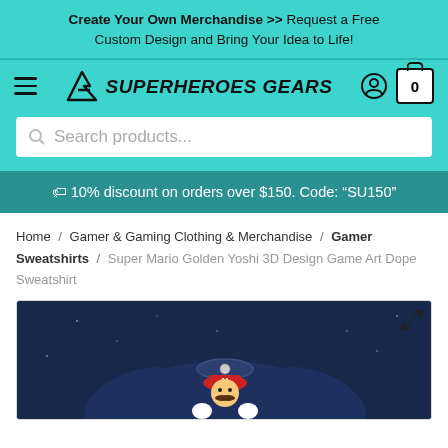Create Your Own Merchandise >> Request a Free Custom Design and Bring Your Idea to Life!
[Figure (logo): SuperHeroes Gears logo with stylized SG emblem and cart/user icons]
Search products...
🏷 10% discount on orders over $150. Code: "SU150"
Home / Gamer & Gaming Clothing & Merchandise / Gamer Sweatshirts / Super Mario Golden Yoshi 3D Design Game Art Dope Sweatshirt
[Figure (photo): Super Mario Golden Yoshi 3D Design Game Art Dope Sweatshirt product photo showing a dark navy sweatshirt with Mario character]